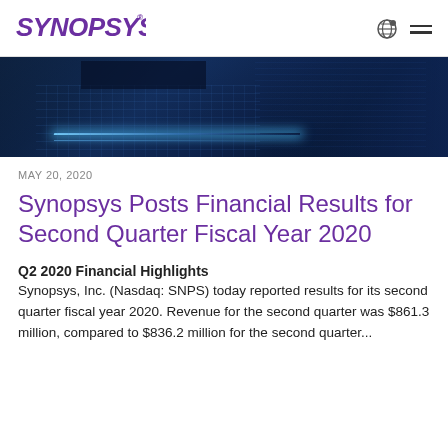SYNOPSYS®
[Figure (photo): Dark blue data center corridor with glowing light lines on the floor and server racks visible]
MAY 20, 2020
Synopsys Posts Financial Results for Second Quarter Fiscal Year 2020
Q2 2020 Financial Highlights
Synopsys, Inc. (Nasdaq: SNPS) today reported results for its second quarter fiscal year 2020. Revenue for the second quarter was $861.3 million, compared to $836.2 million for the second quarter...